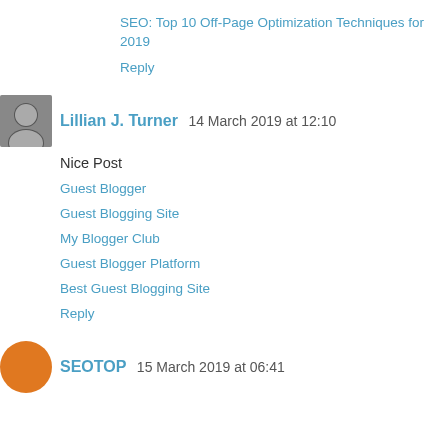SEO: Top 10 Off-Page Optimization Techniques for 2019
Reply
Lillian J. Turner  14 March 2019 at 12:10
Nice Post
Guest Blogger
Guest Blogging Site
My Blogger Club
Guest Blogger Platform
Best Guest Blogging Site
Reply
SEOTOP  15 March 2019 at 06:41